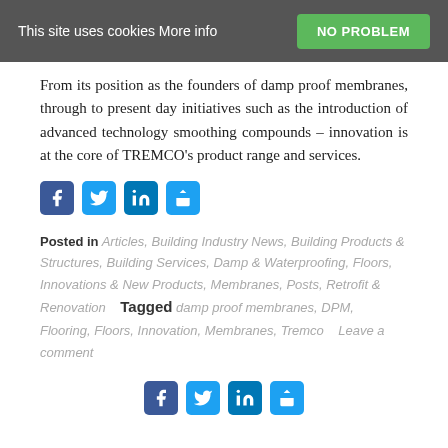This site uses cookies More info   NO PROBLEM
From its position as the founders of damp proof membranes, through to present day initiatives such as the introduction of advanced technology smoothing compounds – innovation is at the core of TREMCO's product range and services.
[Figure (other): Social share icons: Facebook, Twitter, LinkedIn, Share]
Posted in Articles, Building Industry News, Building Products & Structures, Building Services, Damp & Waterproofing, Floors, Innovations & New Products, Membranes, Posts, Retrofit & Renovation   Tagged damp proof membranes, DPM, Flooring, Floors, Innovation, Membranes, Tremco   Leave a comment
[Figure (other): Social share icons at bottom: Facebook, Twitter, LinkedIn, Share]